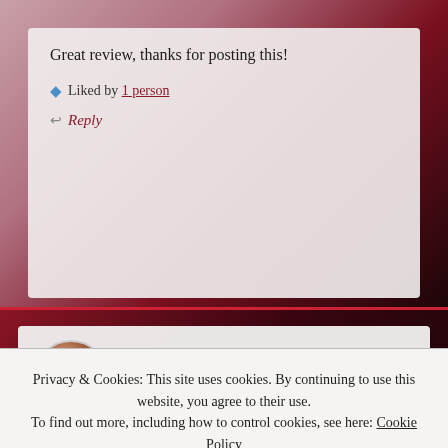Great review, thanks for posting this!
★ Liked by 1 person
↩ Reply
ANNA says: 31ST MAR 2020 AT 11:41 PM
You are welcome! 😊
Privacy & Cookies: This site uses cookies. By continuing to use this website, you agree to their use. To find out more, including how to control cookies, see here: Cookie Policy
Close and accept